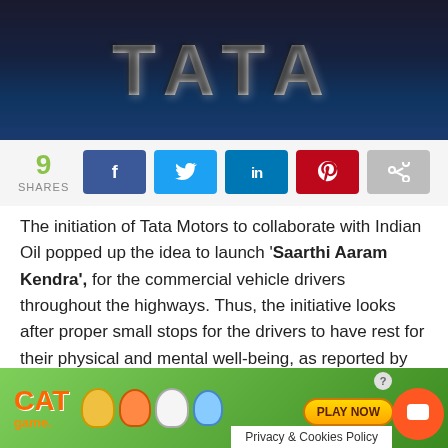[Figure (photo): TATA logo in large metallic silver letters on a dark navy blue background]
9 SHARES [social share buttons: Facebook, Twitter, LinkedIn, Pinterest, Share]
The initiation of Tata Motors to collaborate with Indian Oil popped up the idea to launch 'Saarthi Aaram Kendra', for the commercial vehicle drivers throughout the highways. Thus, the initiative looks after proper small stops for the drivers to have rest for their physical and mental well-being, as reported by the company in a press release.
The initiation of such Kendra was formulated at Bawal on
[Figure (screenshot): Cat Game advertisement banner with colorful cat characters and Play Now button, with Privacy & Cookies Policy overlay and orange chat button]